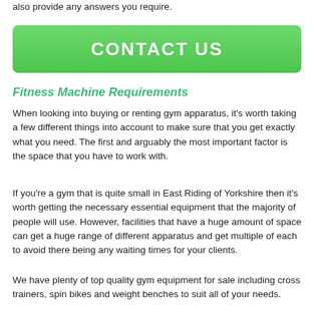also provide any answers you require.
[Figure (other): Green CONTACT US button]
Fitness Machine Requirements
When looking into buying or renting gym apparatus, it's worth taking a few different things into account to make sure that you get exactly what you need. The first and arguably the most important factor is the space that you have to work with.
If you're a gym that is quite small in East Riding of Yorkshire then it's worth getting the necessary essential equipment that the majority of people will use. However, facilities that have a huge amount of space can get a huge range of different apparatus and get multiple of each to avoid there being any waiting times for your clients.
We have plenty of top quality gym equipment for sale including cross trainers, spin bikes and weight benches to suit all of your needs.